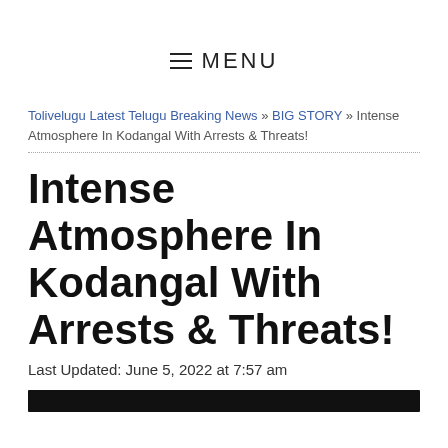≡ MENU
Tolivelugu Latest Telugu Breaking News » BIG STORY » Intense Atmosphere In Kodangal With Arrests & Threats!
Intense Atmosphere In Kodangal With Arrests & Threats!
Last Updated: June 5, 2022 at 7:57 am
[Figure (other): Black bar at bottom of page, likely image placeholder]